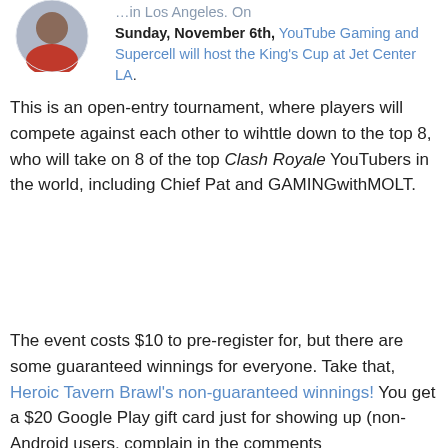[Figure (photo): Circular avatar photo of a person in the top-left corner]
Sunday, November 6th, YouTube Gaming and Supercell will host the King's Cup at Jet Center LA. This is an open-entry tournament, where players will compete against each other to wihttle down to the top 8, who will take on 8 of the top Clash Royale YouTubers in the world, including Chief Pat and GAMINGwithMOLT.
The event costs $10 to pre-register for, but there are some guaranteed winnings for everyone. Take that, Heroic Tavern Brawl's non-guaranteed winnings! You get a $20 Google Play gift card just for showing up (non-Android users, complain in the comments